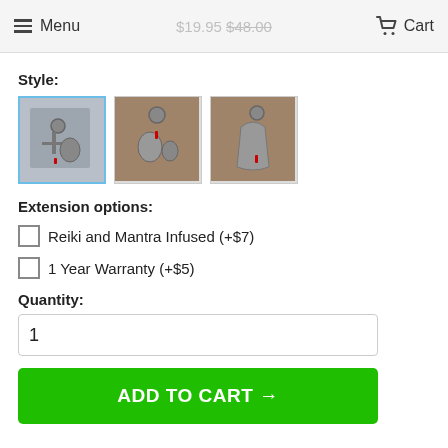Menu | $19.95 $48.00 | Cart
Style:
[Figure (photo): Three product style thumbnails: first selected with blue border showing silver keychain charms on grey surface, second showing similar charms on brown surface, third showing similar charms on brown surface.]
Extension options:
Reiki and Mantra Infused (+$7)
1 Year Warranty (+$5)
Quantity:
1
ADD TO CART →